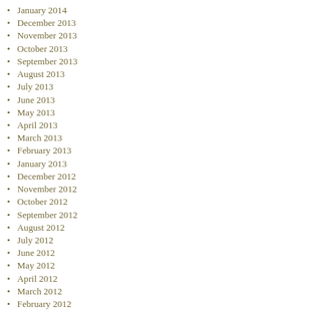January 2014
December 2013
November 2013
October 2013
September 2013
August 2013
July 2013
June 2013
May 2013
April 2013
March 2013
February 2013
January 2013
December 2012
November 2012
October 2012
September 2012
August 2012
July 2012
June 2012
May 2012
April 2012
March 2012
February 2012
January 2012
December 2011
November 2011